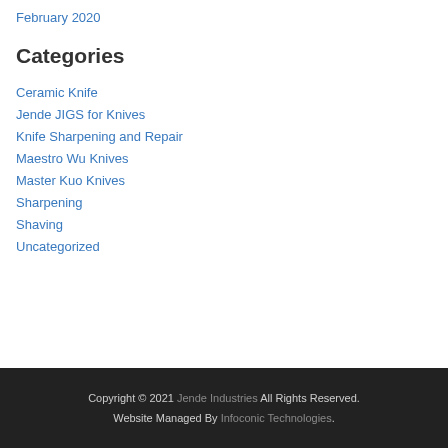February 2020
Categories
Ceramic Knife
Jende JIGS for Knives
Knife Sharpening and Repair
Maestro Wu Knives
Master Kuo Knives
Sharpening
Shaving
Uncategorized
Copyright © 2021 Jende Industries All Rights Reserved. Website Managed By Infoconic Technologies.